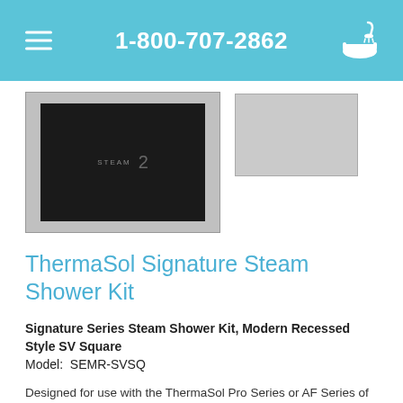1-800-707-2862
[Figure (photo): Product images of ThermaSol Signature Steam Shower Kit control panel (left) and a rectangular panel (right)]
ThermaSol Signature Steam Shower Kit
Signature Series Steam Shower Kit, Modern Recessed Style SV Square
Model: SEMR-SVSQ
Designed for use with the ThermaSol Pro Series or AF Series of steam generators, the ThermaSol Signature Series control kit allows users to control time and temperature settings, on/off and pause modes, lighting, and music from inside the steam shower.